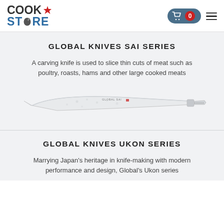CookStore — navigation header with cart (0 items) and menu
GLOBAL KNIVES SAI SERIES
A carving knife is used to slice thin cuts of meat such as poultry, roasts, hams and other large cooked meats
[Figure (photo): Global SAI series carving knife — stainless steel blade with hammered finish and dimpled handle]
GLOBAL KNIVES UKON SERIES
Marrying Japan's heritage in knife-making with modern performance and design, Global's Ukon series